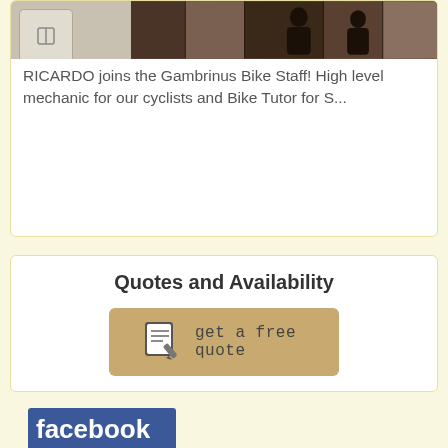[Figure (photo): Top section with placeholder button and photo strip of bike shop scene]
RICARDO joins the Gambrinus Bike Staff! High level mechanic for our cyclists and Bike Tutor for S...
Quotes and Availability
[Figure (infographic): Get a free quote button with notepad and pencil icon on tan/gold background]
[Figure (photo): Facebook social media banner with silhouettes of people using laptops, with 'facebook' text and 'seguici' label below]